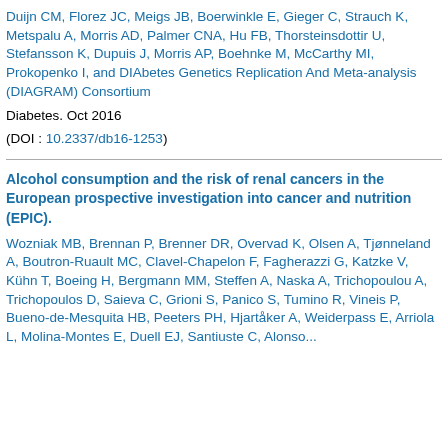Duijn CM, Florez JC, Meigs JB, Boerwinkle E, Gieger C, Strauch K, Metspalu A, Morris AD, Palmer CNA, Hu FB, Thorsteinsdottir U, Stefansson K, Dupuis J, Morris AP, Boehnke M, McCarthy MI, Prokopenko I, and DIAbetes Genetics Replication And Meta-analysis (DIAGRAM) Consortium
Diabetes. Oct 2016
(DOI : 10.2337/db16-1253)
Alcohol consumption and the risk of renal cancers in the European prospective investigation into cancer and nutrition (EPIC).
Wozniak MB, Brennan P, Brenner DR, Overvad K, Olsen A, Tjønneland A, Boutron-Ruault MC, Clavel-Chapelon F, Fagherazzi G, Katzke V, Kühn T, Boeing H, Bergmann MM, Steffen A, Naska A, Trichopoulou A, Trichopoulos D, Saieva C, Grioni S, Panico S, Tumino R, Vineis P, Bueno-de-Mesquita HB, Peeters PH, Hjartåker A, Weiderpass E, Arriola L, Molina-Montes E, Duell EJ, Santiuste C, Alonso...